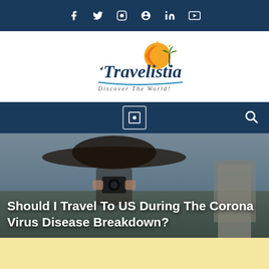Social media icons: Facebook, Twitter, Instagram, Pinterest, LinkedIn, YouTube
[Figure (logo): Travelistia logo with sun and palm tree graphic, tagline: Discover The World!]
[Figure (screenshot): Navigation bar with menu icon and search icon on dark blue background]
[Figure (photo): Hero image of person wearing wide brim hat holding camera, photographing landscape with buildings]
Should I Travel To US During The Corona Virus Disease Breakdown?